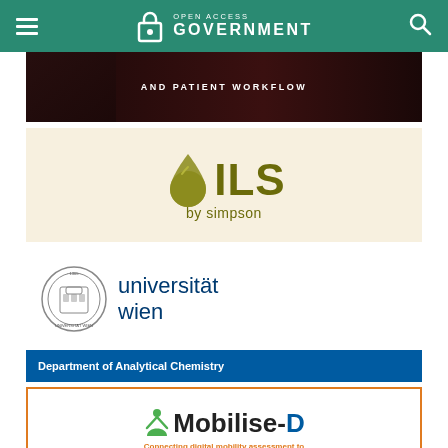Open Access Government
[Figure (photo): Dark clinical background image with text 'AND PATIENT WORKFLOW' in white letters]
[Figure (logo): Oils by Simpson logo on cream background - olive/gold drop icon with text 'OILS by simpson']
[Figure (logo): Universität Wien logo with circular seal and blue sans-serif text 'universität wien']
Department of Analytical Chemistry
[Figure (logo): Mobilise-D logo with orange border box. Green/dark text 'Mobilise-D' with tagline in orange: 'Connecting digital mobility assessment to clinical outcomes for regulatory and clinical endorsement']
[Figure (photo): Electric vehicle charging station photo - partial view at bottom of page]